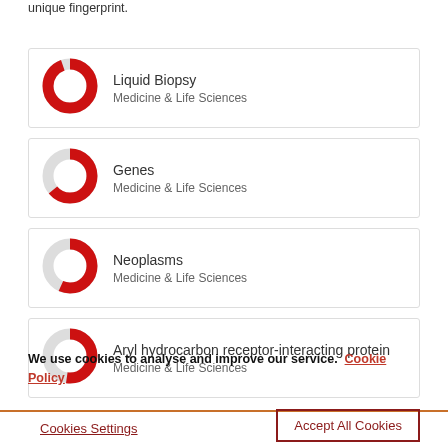unique fingerprint.
Liquid Biopsy — Medicine & Life Sciences
Genes — Medicine & Life Sciences
Neoplasms — Medicine & Life Sciences
Aryl hydrocarbon receptor-interacting protein — Medicine & Life Sciences
We use cookies to analyse and improve our service. Cookie Policy
Cookies Settings
Accept All Cookies